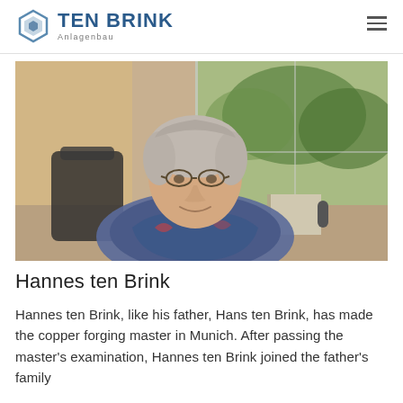TEN BRINK Anlagenbau
[Figure (photo): Portrait photo of Hannes ten Brink, a middle-aged man with gray hair and glasses, wearing a colorful patterned sweater, seated in a leather chair in an office with a window and trees visible behind him.]
Hannes ten Brink
Hannes ten Brink, like his father, Hans ten Brink, has made the copper forging master in Munich. After passing the master's examination, Hannes ten Brink joined the father's family